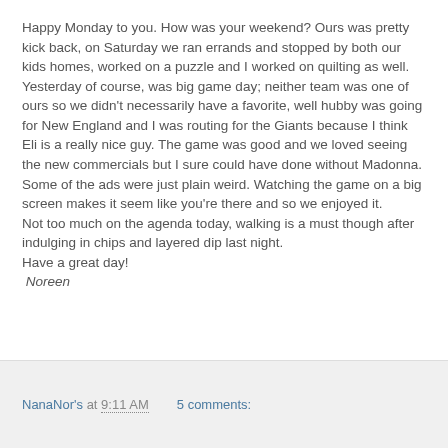Happy Monday to you.  How was your weekend?  Ours was pretty kick back, on Saturday we ran errands and stopped by both our kids homes, worked on a puzzle and I worked on quilting as well.  Yesterday of course, was big game day; neither team was one of ours so we didn't necessarily have a favorite, well hubby was going for New England and I was routing for the Giants because I think Eli is a really nice guy.  The game was good and we loved seeing the new commercials but I sure could have done without Madonna.  Some of the ads were just plain weird.  Watching the game on a big screen makes it seem like you're there and so we enjoyed it.
Not too much on the agenda today, walking is a must though after indulging in chips and layered dip last night.
Have a great day!
 Noreen
NanaNor's at 9:11 AM    5 comments: